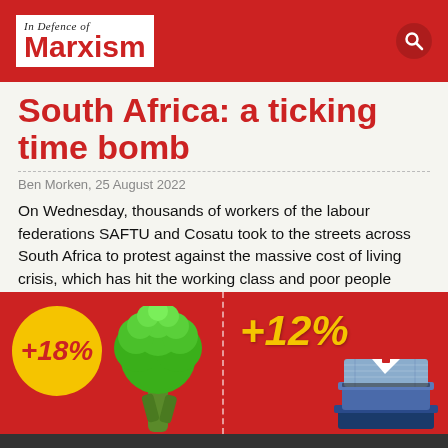In Defence of Marxism
South Africa: a ticking time bomb
Ben Morken, 25 August 2022
On Wednesday, thousands of workers of the labour federations SAFTU and Cosatu took to the streets across South Africa to protest against the massive cost of living crisis, which has hit the working class and poor people especially hard.
[Figure (infographic): Red background split-panel infographic showing +18% over a broccoli image on the left and +12% over a folded shirt image on the right, representing price increases.]